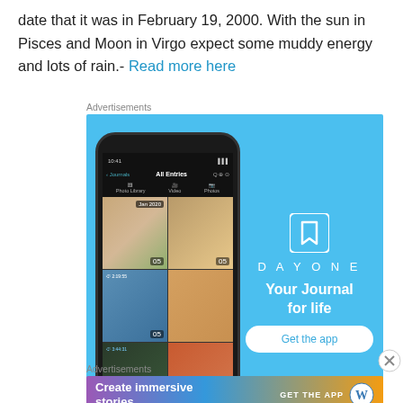date that it was in February 19, 2000. With the sun in Pisces and Moon in Virgo expect some muddy energy and lots of rain.- Read more here
Advertisements
[Figure (screenshot): DayOne app advertisement showing a phone mockup with journal photo grid on the left and DayOne branding with 'Your Journal for life' tagline and 'Get the app' button on the right, on a light blue background.]
Advertisements
[Figure (screenshot): WordPress advertisement with gradient background showing 'Create immersive stories.' text and 'GET THE APP' with WordPress logo.]